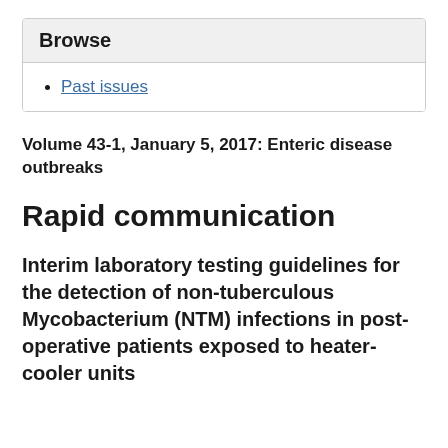Browse
Past issues
Volume 43-1, January 5, 2017: Enteric disease outbreaks
Rapid communication
Interim laboratory testing guidelines for the detection of non-tuberculous Mycobacterium (NTM) infections in post-operative patients exposed to heater-cooler units